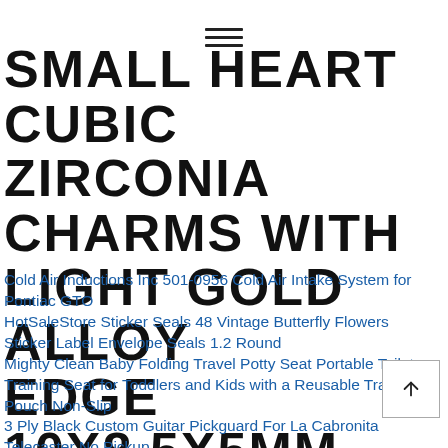☰ (hamburger menu icon)
SMALL HEART CUBIC ZIRCONIA CHARMS WITH LIGHT GOLD ALLOY EDGE 10X8.5X5MM
Cold Air Inductions Inc 501-0956 Cold Air Intake System for Pontiac GTO
HotSaleStore Sticker Seals 48 Vintage Butterfly Flowers Sticker Label Envelope Seals 1.2 Round
Mighty Clean Baby Folding Travel Potty Seat Portable Toilet Training Seat for Toddlers and Kids with a Reusable Travel Pouch Non-Slip
3 Ply Black Custom Guitar Pickguard For La Cabronita Telecaster No Pickup
AB Biller Speed Shooter Hawaiian Sling Package
Low Top Cap Toe Women Sneakers Tennis Canvas Shoes Casual Shoes for Women Flats
French Press Coffee Maker, 100% BPA Free 8 Cups/ 34 oz Durable